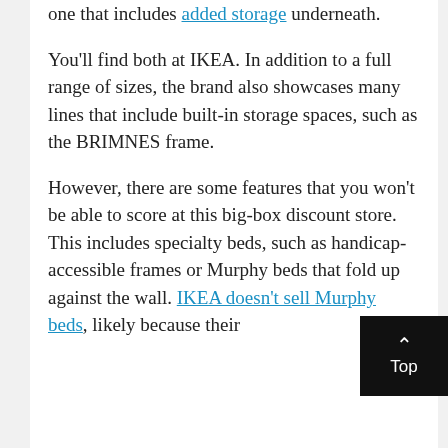one that includes added storage underneath.
You'll find both at IKEA. In addition to a full range of sizes, the brand also showcases many lines that include built-in storage spaces, such as the BRIMNES frame.
However, there are some features that you won't be able to score at this big-box discount store. This includes specialty beds, such as handicap-accessible frames or Murphy beds that fold up against the wall. IKEA doesn't sell Murphy beds, likely because their